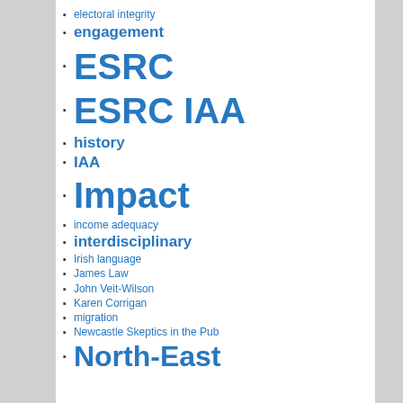electoral integrity
engagement
ESRC
ESRC IAA
history
IAA
Impact
income adequacy
interdisciplinary
Irish language
James Law
John Veit-Wilson
Karen Corrigan
migration
Newcastle Skeptics in the Pub
North-East